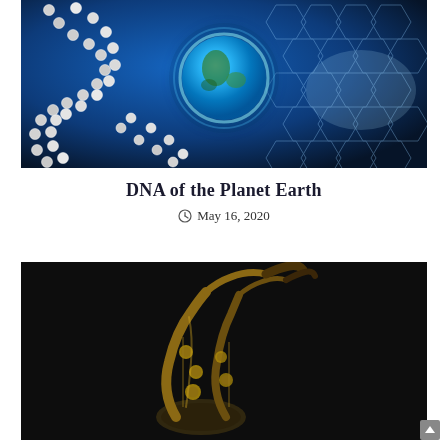[Figure (photo): DNA double helix made of pearl-like white spheres with a glowing Earth globe at center, set against a dark blue background with hexagonal honeycomb patterns on the right side — science/technology conceptual illustration]
DNA of the Planet Earth
May 16, 2020
[Figure (photo): Close-up photograph of a saxophone (brass instrument) against a very dark, near-black background, highlighting the keys and bell of the instrument]